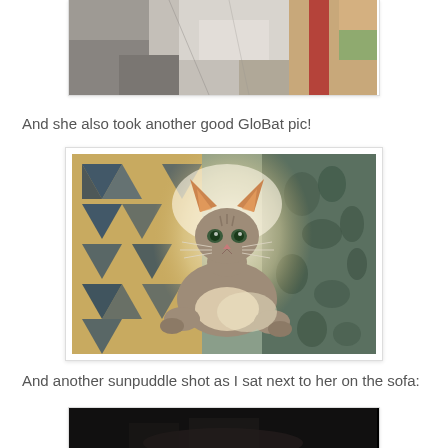[Figure (photo): Partial photo (top cropped) showing a cat or animal resting on blankets/fabric, with grey, beige and red/plaid textile visible]
And she also took another good GloBat pic!
[Figure (photo): A cat (likely Abyssinian or similar breed) sitting upright in bright sunlight on a patterned cushion/pillow with geometric designs in blue, gold and black. The cat faces the camera with large ears and green eyes.]
And another sunpuddle shot as I sat next to her on the sofa:
[Figure (photo): Partially visible photo (bottom cut off) showing a darker scene, likely another cat photo on a sofa]